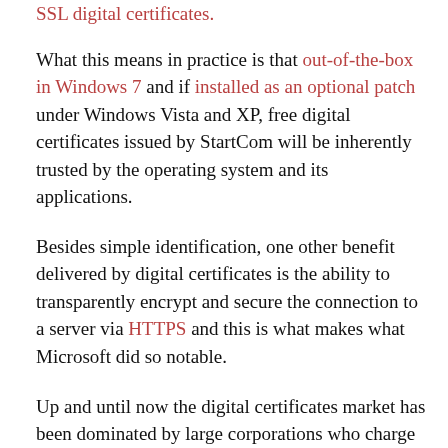SSL digital certificates.
What this means in practice is that out-of-the-box in Windows 7 and if installed as an optional patch under Windows Vista and XP, free digital certificates issued by StartCom will be inherently trusted by the operating system and its applications.
Besides simple identification, one other benefit delivered by digital certificates is the ability to transparently encrypt and secure the connection to a server via HTTPS and this is what makes what Microsoft did so notable.
Up and until now the digital certificates market has been dominated by large corporations who charge quite a pretty penny for the privilege, limiting the use of HTTPS. Unfortunately at the same time due to the